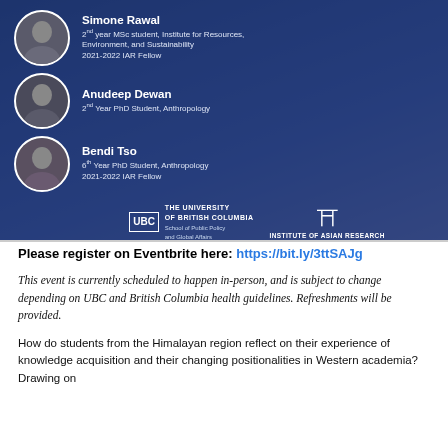[Figure (infographic): Event banner with blue background showing three speakers with circular profile photos and descriptions, plus UBC and Institute of Asian Research logos, and co-sponsorship note.]
Please register on Eventbrite here: https://bit.ly/3ttSAJg
This event is currently scheduled to happen in-person, and is subject to change depending on UBC and British Columbia health guidelines. Refreshments will be provided.
How do students from the Himalayan region reflect on their experience of knowledge acquisition and their changing positionalities in Western academia? Drawing on